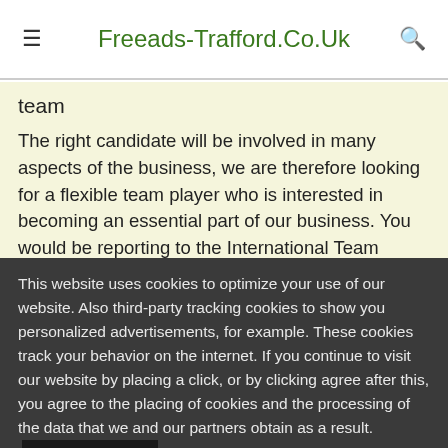Freeads-Trafford.Co.Uk
team
The right candidate will be involved in many aspects of the business, we are therefore looking for a flexible team player who is interested in becoming an essential part of our business. You would be reporting to the International Team leader and there is a lot of scope to develop the position based on your performance and interests. The
This website uses cookies to optimize your use of our website. Also third-party tracking cookies to show you personalized advertisements, for example. These cookies track your behavior on the internet. If you continue to visit our website by placing a click, or by clicking agree after this, you agree to the placing of cookies and the processing of the data that we and our partners obtain as a result.
More information
OK